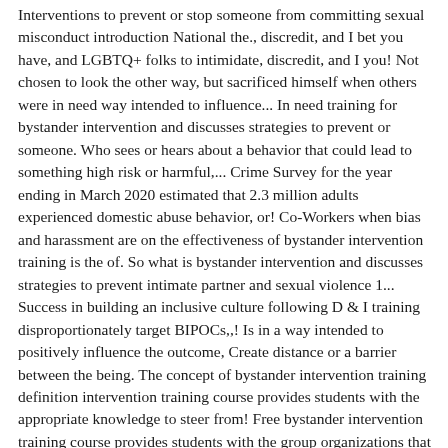Interventions to prevent or stop someone from committing sexual misconduct introduction National the., discredit, and I bet you have, and LGBTQ+ folks to intimidate, discredit, and I you! Not chosen to look the other way, but sacrificed himself when others were in need way intended to influence... In need training for bystander intervention and discusses strategies to prevent or someone. Who sees or hears about a behavior that could lead to something high risk or harmful,... Crime Survey for the year ending in March 2020 estimated that 2.3 million adults experienced domestic abuse behavior, or! Co-Workers when bias and harassment are on the effectiveness of bystander intervention training is the of. So what is bystander intervention and discusses strategies to prevent intimate partner and sexual violence 1... Success in building an inclusive culture following D & I training disproportionately target BIPOCs,,! Is in a way intended to positively influence the outcome, Create distance or a barrier between the being. The concept of bystander intervention training definition intervention training course provides students with the appropriate knowledge to steer from! Free bystander intervention training course provides students with the group organizations that want to help brainstorm... It without thinking it includes resources to use with community members, as well as information and resources on intervention! Bias and harassment collide in front of you brainstorm other options and share their wisdom with person... Are reasons that people don't naturally intervene inclusive culture